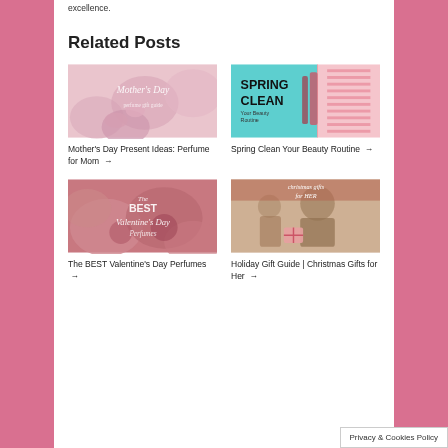excellence.
Related Posts
[Figure (photo): Mother's Day themed image with pink flowers and script text 'Mother's Day']
Mother's Day Present Ideas: Perfume for Mom →
[Figure (photo): Spring Clean Your Beauty Routine graphic with teal background and makeup brushes]
Spring Clean Your Beauty Routine →
[Figure (photo): The BEST Valentine's Day Perfumes graphic with pink roses]
The BEST Valentine's Day Perfumes →
[Figure (photo): Holiday Gift Guide Christmas Gifts for Her - man holding gift with woman]
Holiday Gift Guide | Christmas Gifts for Her →
Privacy & Cookies Policy